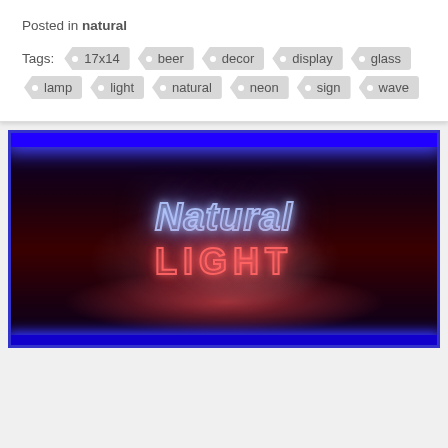Posted in natural
Tags: 17x14  beer  decor  display  glass  lamp  light  natural  neon  sign  wave
[Figure (photo): A neon sign reading 'Natural LIGHT' with blue and red glowing neon letters on a dark background, with a blue neon border frame around the image.]